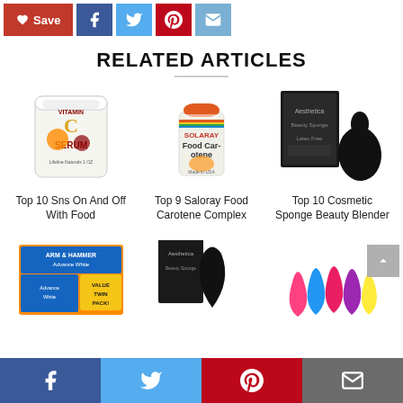[Figure (screenshot): Social share bar with Save button (red), Facebook (blue), Twitter (light blue), Pinterest (red), Email (blue-gray) icons]
RELATED ARTICLES
[Figure (photo): Vitamin C Serum can - Lifeline Naturals]
Top 10 Sns On And Off With Food
[Figure (photo): Solaray Food Carotene supplement bottle]
Top 9 Saloray Food Carotene Complex
[Figure (photo): Aesthetica Beauty Sponge blender with box]
Top 10 Cosmetic Sponge Beauty Blender
[Figure (photo): Arm & Hammer Advance toothpaste Value Twin Pack]
[Figure (photo): Aesthetica Beauty Sponge Blender product]
[Figure (photo): Set of colorful beauty sponge blenders (pink, blue, purple, yellow)]
[Figure (screenshot): Bottom footer social bar with Facebook, Twitter, Pinterest, Email icons]